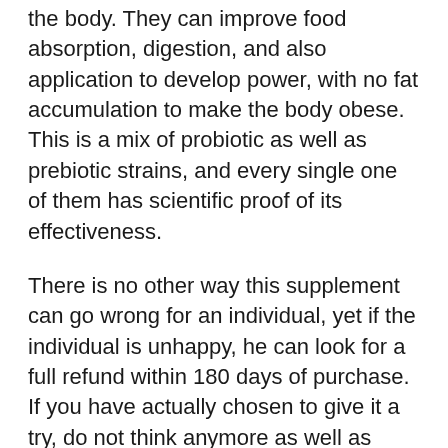the body. They can improve food absorption, digestion, and also application to develop power, with no fat accumulation to make the body obese. This is a mix of probiotic as well as prebiotic strains, and every single one of them has scientific proof of its effectiveness.
There is no other way this supplement can go wrong for an individual, yet if the individual is unhappy, he can look for a full refund within 180 days of purchase. If you have actually chosen to give it a try, do not think anymore as well as check out the official site today to validate the orders. The stock is selling quick, as well as it may finish quickly. Purchase LeanBiome while it is still offered using this direct link to the main web site.